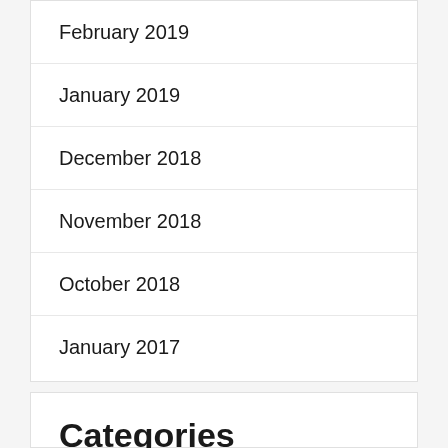February 2019
January 2019
December 2018
November 2018
October 2018
January 2017
Categories
Business